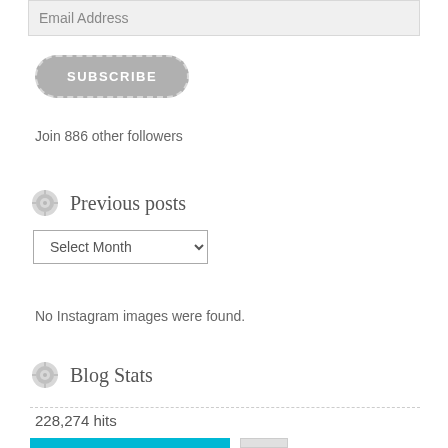Email Address
SUBSCRIBE
Join 886 other followers
Previous posts
Select Month
No Instagram images were found.
Blog Stats
228,274 hits